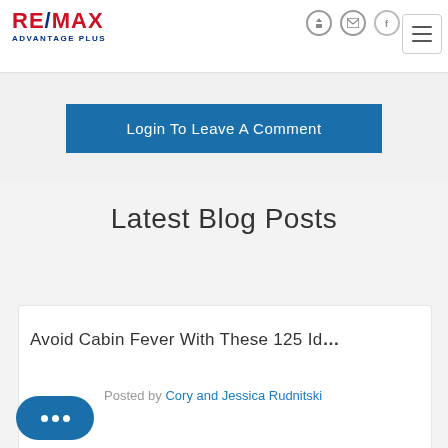[Figure (logo): RE/MAX Advantage Plus logo with red and blue text]
Login To Leave A Comment
Latest Blog Posts
Avoid Cabin Fever With These 125 Id...
Posted by Cory and Jessica Rudnitski